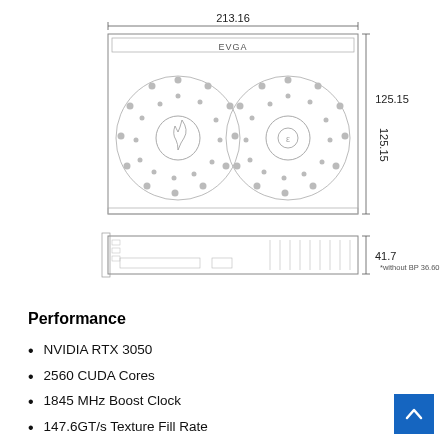[Figure (engineering-diagram): Technical engineering drawing of an EVGA GPU (dual-fan graphics card). Top view shows front face with two circular fans and EVGA logo, with dimension 213.16 width and 125.15 height. Side/profile view below shows thin profile of card with dimension 41.7 height, annotated with *without BP 36.60.]
Performance
NVIDIA RTX 3050
2560 CUDA Cores
1845 MHz Boost Clock
147.6GT/s Texture Fill Rate